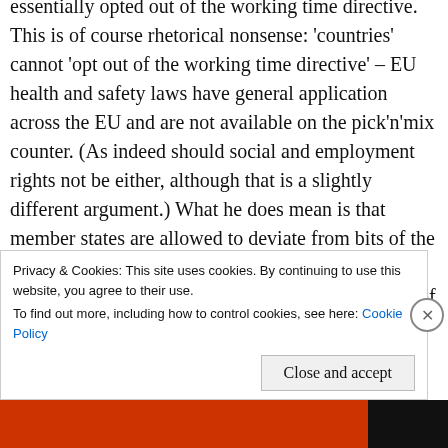essentially opted out of the working time directive. This is of course rhetorical nonsense: 'countries' cannot 'opt out of the working time directive' – EU health and safety laws have general application across the EU and are not available on the pick'n'mix counter. (As indeed should social and employment rights not be either, although that is a slightly different argument.) What he does mean is that member states are allowed to deviate from bits of the working time directive where – crucially, but which is frequently forgotten – this is with the agreement of the individual worker (calling to mind here the
Privacy & Cookies: This site uses cookies. By continuing to use this website, you agree to their use.
To find out more, including how to control cookies, see here: Cookie Policy
Close and accept